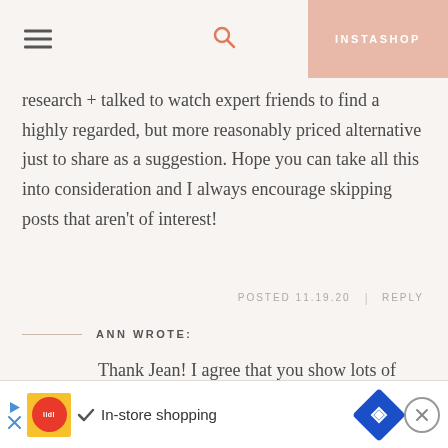INSTASHOP
research + talked to watch expert friends to find a highly regarded, but more reasonably priced alternative just to share as a suggestion. Hope you can take all this into consideration and I always encourage skipping posts that aren't of interest!
POSTED 11.19.20  |  REPLY
ANN WROTE:
Thank Jean! I agree that you show lots of price points on your blog and I like that. I was just thinking about how my family decided to make a $500 donation to our local food pantry to provide holiday food
In-store shopping